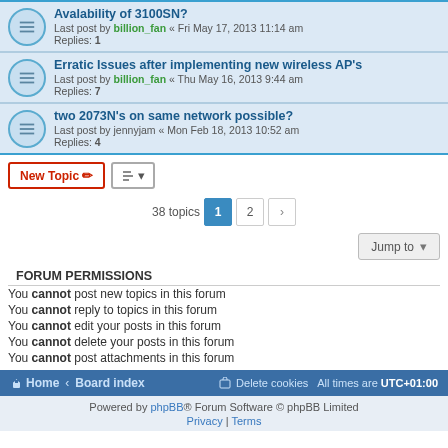Avalability of 3100SN? - Last post by billion_fan « Fri May 17, 2013 11:14 am - Replies: 1
Erratic Issues after implementing new wireless AP's - Last post by billion_fan « Thu May 16, 2013 9:44 am - Replies: 7
two 2073N's on same network possible? - Last post by jennyjam « Mon Feb 18, 2013 10:52 am - Replies: 4
New Topic | Sort | 38 topics | Page 1 2 >
Jump to
FORUM PERMISSIONS
You cannot post new topics in this forum
You cannot reply to topics in this forum
You cannot edit your posts in this forum
You cannot delete your posts in this forum
You cannot post attachments in this forum
Home · Board index | Delete cookies | All times are UTC+01:00 | Powered by phpBB® Forum Software © phpBB Limited | Privacy | Terms